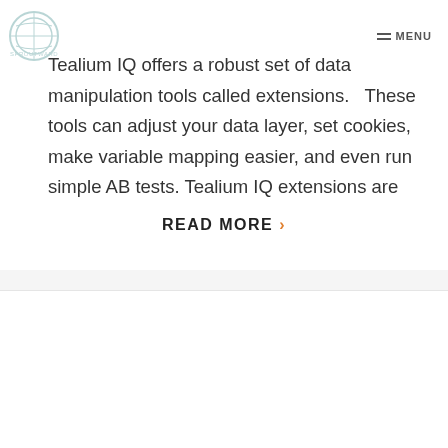SPROUTWARD | MENU
Tealium IQ offers a robust set of data manipulation tools called extensions.   These tools can adjust your data layer, set cookies, make variable mapping easier, and even run simple AB tests. Tealium IQ extensions are
READ MORE >
[Figure (logo): Green bar chart icon representing analytics]
Google Analytics 4 (GA4) Overview
Analytics